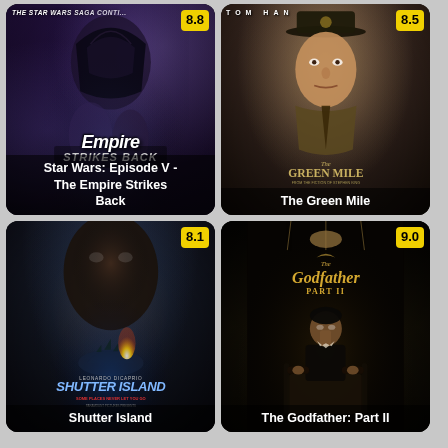[Figure (photo): Movie poster for Star Wars: Episode V - The Empire Strikes Back with rating badge 8.8]
[Figure (photo): Movie poster for The Green Mile with rating badge 8.5]
[Figure (photo): Movie poster for Shutter Island with rating badge 8.1]
[Figure (photo): Movie poster for The Godfather: Part II with rating badge 9.0]